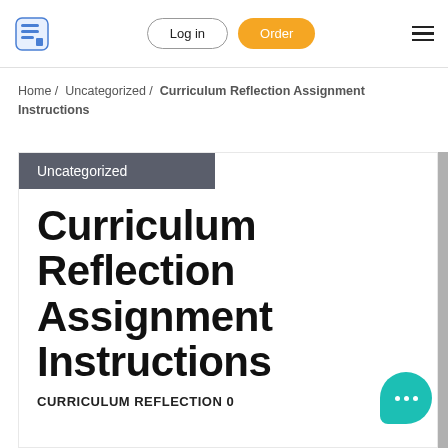Log in | Order
Home / Uncategorized / Curriculum Reflection Assignment Instructions
Uncategorized
Curriculum Reflection Assignment Instructions
CURRICULUM REFLECTION 0